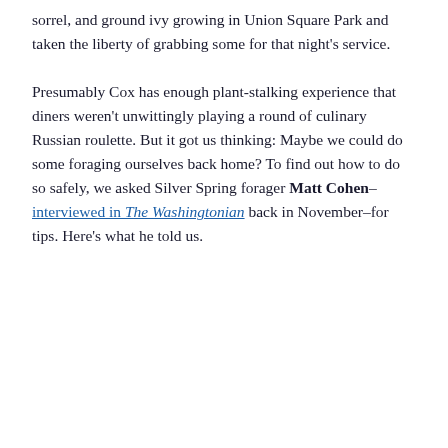sorrel, and ground ivy growing in Union Square Park and taken the liberty of grabbing some for that night's service.
Presumably Cox has enough plant-stalking experience that diners weren't unwittingly playing a round of culinary Russian roulette. But it got us thinking: Maybe we could do some foraging ourselves back home? To find out how to do so safely, we asked Silver Spring forager Matt Cohen–interviewed in The Washingtonian back in November–for tips. Here's what he told us.